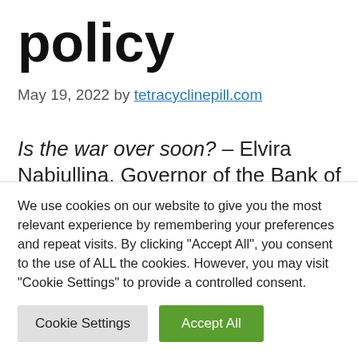policy
May 19, 2022 by tetracyclinepill.com
Is the war over soon? – Elvira Nabiullina, Governor of the Bank of Russia, admitted that the Russian central bank may have adopted a
We use cookies on our website to give you the most relevant experience by remembering your preferences and repeat visits. By clicking "Accept All", you consent to the use of ALL the cookies. However, you may visit "Cookie Settings" to provide a controlled consent.